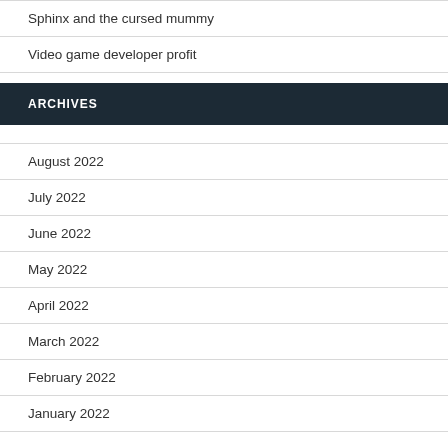Sphinx and the cursed mummy
Video game developer profit
ARCHIVES
August 2022
July 2022
June 2022
May 2022
April 2022
March 2022
February 2022
January 2022